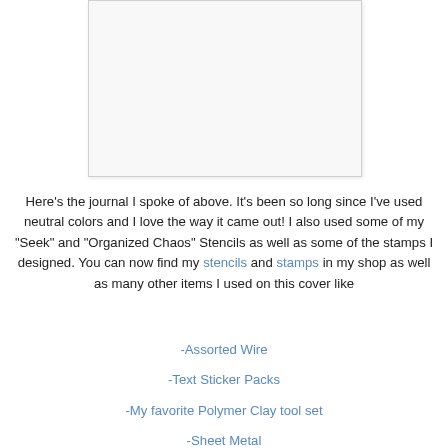[Figure (photo): A journal or craft book cover shown in the upper portion of the page, displayed as a white/light-colored rectangular image placeholder]
Here's the journal I spoke of above. It's been so long since I've used neutral colors and I love the way it came out! I also used some of my "Seek" and "Organized Chaos" Stencils as well as some of the stamps I designed. You can now find my stencils and stamps in my shop as well as many other items I used on this cover like
-Assorted Wire
-Text Sticker Packs
-My favorite Polymer Clay tool set
-Sheet Metal